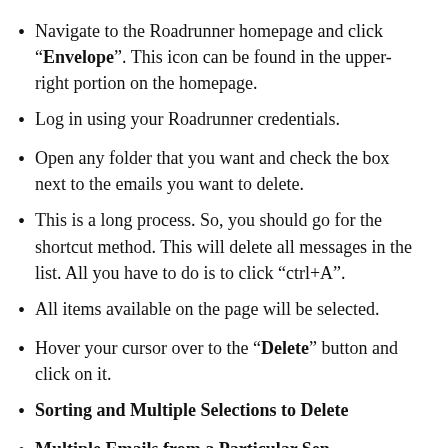Navigate to the Roadrunner homepage and click “Envelope”. This icon can be found in the upper-right portion on the homepage.
Log in using your Roadrunner credentials.
Open any folder that you want and check the box next to the emails you want to delete.
This is a long process. So, you should go for the shortcut method. This will delete all messages in the list. All you have to do is to click “ctrl+A”.
All items available on the page will be selected.
Hover your cursor over to the “Delete” button and click on it.
Sorting and Multiple Selections to Delete
Multiple Emails from a Particular Sender